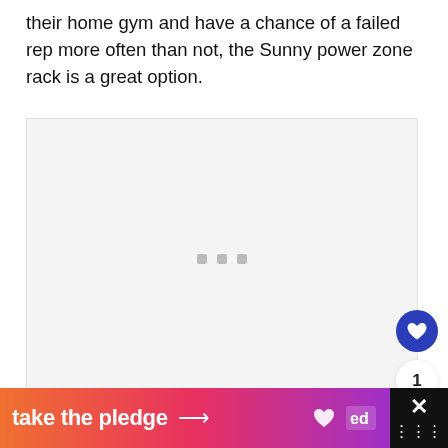their home gym and have a chance of a failed rep more often than not, the Sunny power zone rack is a great option.
[Figure (photo): Light gray image placeholder area with three small gray square dots centered near the bottom, indicating a loading or empty image carousel.]
[Figure (screenshot): Bottom advertisement banner. Left portion has a gradient background (orange to pink to purple) with white bold text 'take the pledge' followed by an arrow, and the RELEASE ad logo. Right portion is black with an X close icon and stacked dots.]